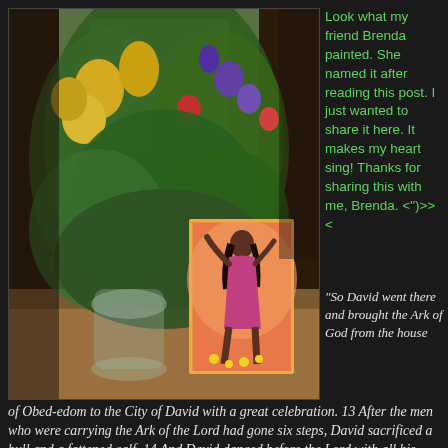[Figure (photo): Photograph of a flower arrangement with yellow, red and purple flowers in a glass vase on a counter, with a painting leaning against it depicting a woman in a pink dress dancing with arms raised on a warm orange/pink background]
Look what my friend Brenda painted. She named it after reading this post. I just wanted to share it here. It makes my heart sing! Thanks for sharing this with me, Brenda. <")>><
"So David went there and brought the Ark of God from the house of Obed-edom to the City of David with a great celebration. 13 After the men who were carrying the Ark of the Lord had gone six steps, David sacrificed a bull and a fattened calf. 14 And David danced before the Lord with all his might, wearing a priestly garment. 15 So David and all the people of Israel